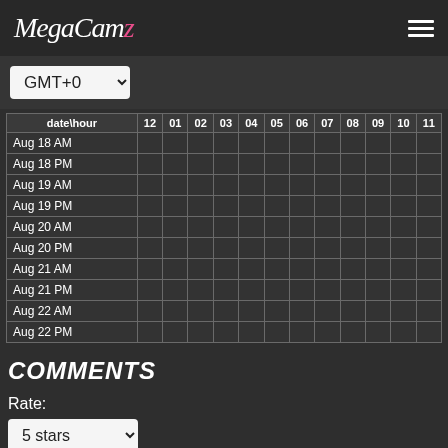MegaCamz (logo) with hamburger menu
GMT+0 (dropdown)
| date\hour | 12 | 01 | 02 | 03 | 04 | 05 | 06 | 07 | 08 | 09 | 10 | 11 |
| --- | --- | --- | --- | --- | --- | --- | --- | --- | --- | --- | --- | --- |
| Aug 18 AM |  |  |  |  |  |  |  |  |  |  |  |  |
| Aug 18 PM |  |  |  |  |  |  |  |  |  |  |  |  |
| Aug 19 AM |  |  |  |  |  |  |  |  |  |  |  |  |
| Aug 19 PM |  |  |  |  |  |  |  |  |  |  |  |  |
| Aug 20 AM |  |  |  |  |  |  |  |  |  |  |  |  |
| Aug 20 PM |  |  |  |  |  |  |  |  |  |  |  |  |
| Aug 21 AM |  |  |  |  |  |  |  |  |  |  |  |  |
| Aug 21 PM |  |  |  |  |  |  |  |  |  |  |  |  |
| Aug 22 AM |  |  |  |  |  |  |  |  |  |  |  |  |
| Aug 22 PM |  |  |  |  |  |  |  |  |  |  |  |  |
COMMENTS
Rate:
5 stars (dropdown)